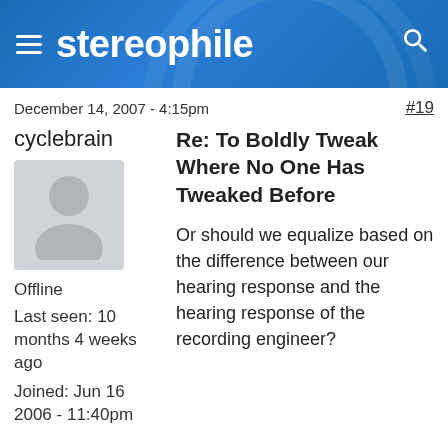stereophile
December 14, 2007 - 4:15pm
#19
cyclebrain
[Figure (illustration): Default user avatar silhouette on gray background]
Offline
Last seen: 10 months 4 weeks ago
Joined: Jun 16 2006 - 11:40pm
Re: To Boldly Tweak Where No One Has Tweaked Before
Or should we equalize based on the difference between our hearing response and the hearing response of the recording engineer?